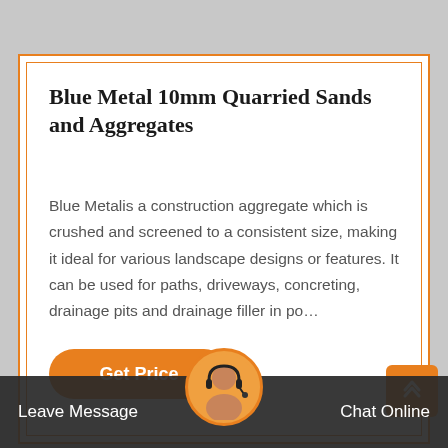Blue Metal 10mm Quarried Sands and Aggregates
Blue Metalis a construction aggregate which is crushed and screened to a consistent size, making it ideal for various landscape designs or features. It can be used for paths, driveways, concreting, drainage pits and drainage filler in po…
[Figure (photo): Industrial machinery or aggregate processing equipment visible at bottom of page]
Leave Message   Chat Online